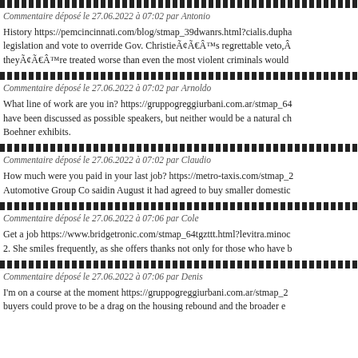Commentaire déposé le 27.06.2022 à 07:02 par Antonio
History https://pemcincinnati.com/blog/stmap_39dwanrs.html?cialis.dupha legislation and vote to override Gov. ChristieÃ¢Â€Â™s regrettable veto,Â theyÃ¢Â€Â™re treated worse than even the most violent criminals would
Commentaire déposé le 27.06.2022 à 07:02 par Arnoldo
What line of work are you in? https://gruppogreggiurbani.com.ar/stmap_64 have been discussed as possible speakers, but neither would be a natural ch Boehner exhibits.
Commentaire déposé le 27.06.2022 à 07:02 par Claudio
How much were you paid in your last job? https://metro-taxis.com/stmap_2 Automotive Group Co saidin August it had agreed to buy smaller domestic
Commentaire déposé le 27.06.2022 à 07:06 par Cole
Get a job https://www.bridgetronic.com/stmap_64tgzttt.html?levitra.minoc 2. She smiles frequently, as she offers thanks not only for those who have b
Commentaire déposé le 27.06.2022 à 07:06 par Denis
I'm on a course at the moment https://gruppogreggiurbani.com.ar/stmap_2 buyers could prove to be a drag on the housing rebound and the broader e